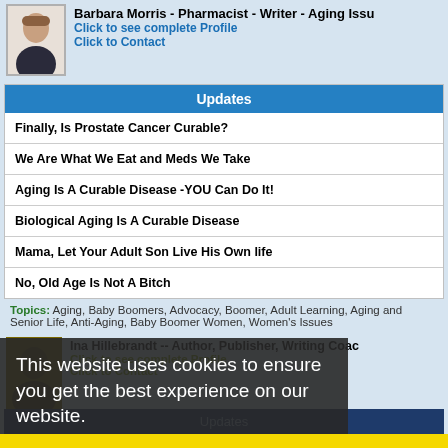Barbara Morris - Pharmacist - Writer - Aging Iss...
Click to see complete Profile
Click to Contact
Updates
Finally, Is Prostate Cancer Curable?
We Are What We Eat and Meds We Take
Aging Is A Curable Disease -YOU Can Do It!
Biological Aging Is A Curable Disease
Mama, Let Your Adult Son Live His Own life
No, Old Age Is Not A Bitch
Topics: Aging, Baby Boomers, Advocacy, Boomer, Adult Learning, Aging and Senior Life, Anti-Aging, Baby Boomer Women, Women's Issues
This website uses cookies to ensure you get the best experience on our website.
Ina Hillebrandt -- Author, Publisher, Writing Coac...
Click to see complete Profile
Click to Contact
Updates
The Day The Chalk Ran Out, Guest Post by Flo Selfman